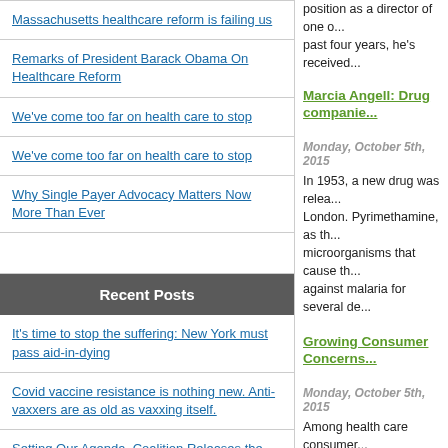Massachusetts healthcare reform is failing us
Remarks of President Barack Obama On Healthcare Reform
We've come too far on health care to stop
We've come too far on health care to stop
Why Single Payer Advocacy Matters Now More Than Ever
Recent Posts
It's time to stop the suffering: New York must pass aid-in-dying
Covid vaccine resistance is nothing new. Anti-vaxxers are as old as vaxxing itself.
Setting Our Agenda–Coalition Releases the First Ever NYC Hispanic/Latinx Health Action Agenda: "Our Health. Our Future"
The Puerto Rico Medicaid Five-Year Deal
Pharma-Friendly Stance After Millions in Gifts From Drugmakers
position as a director of one of... past four years, he's received...
Marcia Angell: Drug companies...
Monday, October 5th, 2015
In 1953, a new drug was relea... London. Pyrimethamine, as th... microorganisms that cause th... against malaria for several de...
Growing Consumer Concerns...
Monday, October 5th, 2015
Among health care consumer... and increasing costs of presc... and relief from these costs ha... indicators. In May of this year...